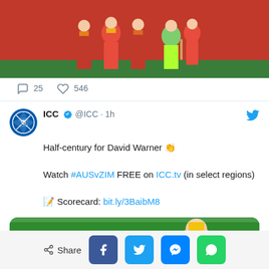[Figure (photo): Cricket players in red and yellow uniforms grouped together on a field]
💬 25   🤍 546
ICC ✓ @ICC · 1h
Half-century for David Warner 👏

Watch #AUSvZIM FREE on ICC.tv (in select regions)

📝 Scorecard: bit.ly/3BaibM8
[Figure (photo): Cricket match photo showing 50 milestone overlay, HIT FOR SIX! 983, and thumbs up button]
Share